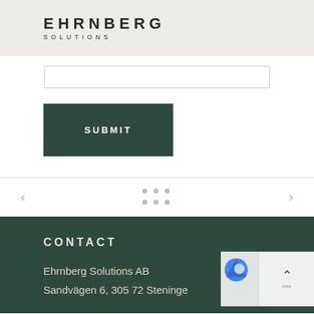EHRNBERG SOLUTIONS
[Figure (screenshot): Input text field (form element, partially visible)]
[Figure (screenshot): Submit button - dark green rectangular button with text SUBMIT]
[Figure (screenshot): Navigation row with left arrow, dot grid pagination indicator, and right arrow]
CONTACT
Ehrnberg Solutions AB
Sandvägen 6, 305 72 Steninge